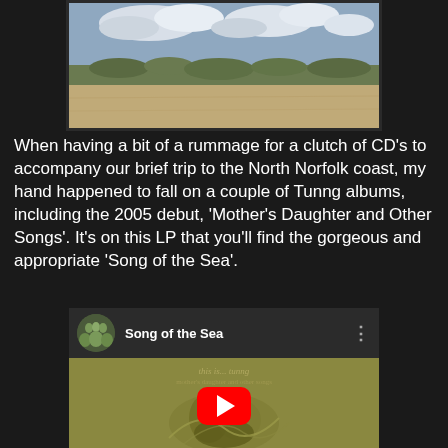[Figure (photo): Beach/coastal landscape photo showing sandy beach, dune vegetation, and cloudy sky over North Norfolk coast]
When having a bit of a rummage for a clutch of CD's to accompany our brief trip to the North Norfolk coast, my hand happened to fall on a couple of Tunng albums, including the 2005 debut, 'Mother's Daughter and Other Songs'. It's on this LP that you'll find the gorgeous and appropriate 'Song of the Sea'.
[Figure (screenshot): YouTube video embed showing 'Song of the Sea' by Tunng, with channel icon, video title, three-dot menu, and play button over album artwork thumbnail]